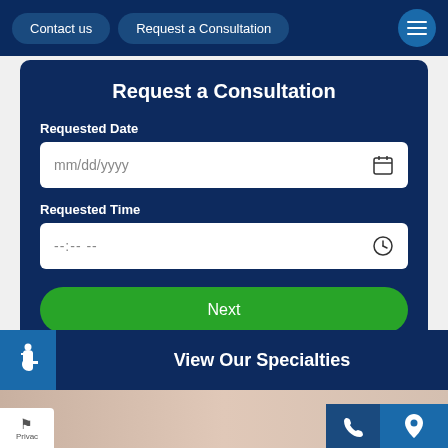Contact us | Request a Consultation
Request a Consultation
Requested Date
mm/dd/yyyy
Requested Time
--:-- --
Next
View Our Specialties